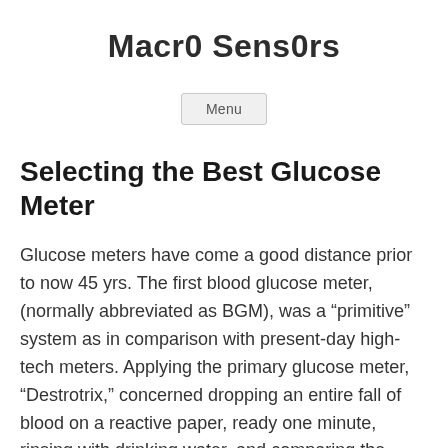Macr0 Sens0rs
Menu
Selecting the Best Glucose Meter
Glucose meters have come a good distance prior to now 45 yrs. The first blood glucose meter, (normally abbreviated as BGM), was a “primitive” system as in comparison with present-day high-tech meters. Applying the primary glucose meter, “Destrotrix,” concerned dropping an entire fall of blood on a reactive paper, ready one minute, rinsing with drinking water, and comparing the color in the paper to a comparative colour chart. With recent know-how, glucose readings became fewer of a hassle and very practical. With the large assortment of meters available, deciding on the